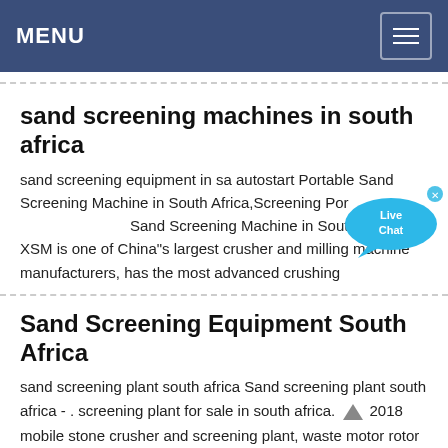MENU
sand screening machines in south africa
sand screening equipment in sa autostart Portable Sand Screening Machine in South Africa,Screening Portable Sand Screening Machine in South Africa. XSM is one of China"s largest crusher and milling machine manufacturers, has the most advanced crushing
Sand Screening Equipment South Africa
sand screening plant south africa Sand screening plant south africa - . screening plant for sale in south africa. 2018 mobile stone crusher and screening plant, waste motor rotor crushing... plants for sale, mobile portable